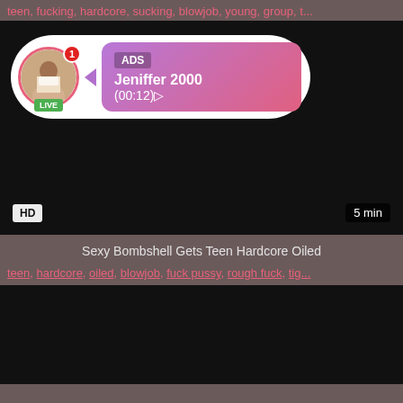teen, fucking, hardcore, sucking, blowjob, young, group, t...
[Figure (screenshot): Video player with ad overlay showing profile picture with LIVE badge, notification badge, and a pink gradient bubble with ADS label, name Jeniffer 2000, time (00:12), plus HD and 5 min badges]
Sexy Bombshell Gets Teen Hardcore Oiled
teen, hardcore, oiled, blowjob, fuck pussy, rough fuck, tig...
[Figure (screenshot): Second dark video thumbnail]